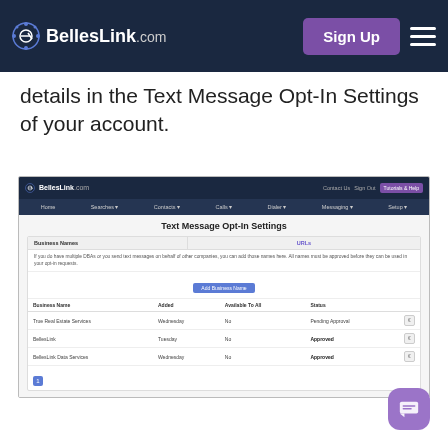BellesLink.com — Sign Up
details in the Text Message Opt-In Settings of your account.
[Figure (screenshot): Screenshot of BellesLink.com Text Message Opt-In Settings page showing a table with Business Names (True Real Estate Services - Wednesday - No - Pending Approval; BellesLink - Tuesday - No - Approved; BellesLink Data Services - Wednesday - No - Approved)]
| Business Name | Added | Available To All | Status |
| --- | --- | --- | --- |
| True Real Estate Services | Wednesday | No | Pending Approval |
| BellesLink | Tuesday | No | Approved |
| BellesLink Data Services | Wednesday | No | Approved |